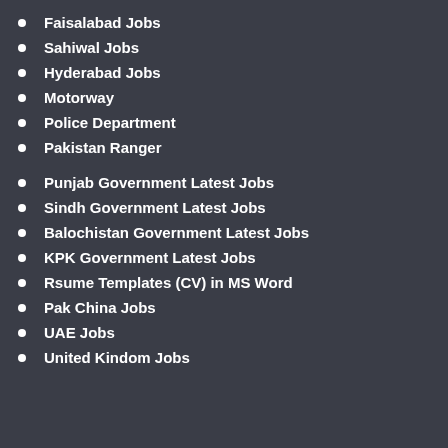Faisalabad Jobs
Sahiwal Jobs
Hyderabad Jobs
Motorway
Police Department
Pakistan Ranger
Punjab Government Latest Jobs
Sindh Government Latest Jobs
Balochistan Government Latest Jobs
KPK Government Latest Jobs
Rsume Templates (CV) in MS Word
Pak China Jobs
UAE Jobs
United Kindom Jobs